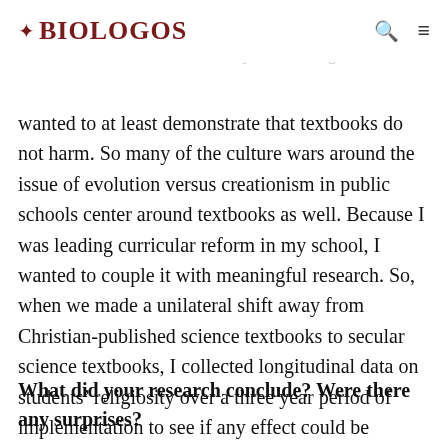BioLogos
as a result of using so-called scientific textbooks. In a testing. While it was challenging to isolate variables and demonstrate any causal linkage, I wanted to at least demonstrate that textbooks do not harm. So many of the culture wars around the issue of evolution versus creationism in public schools center around textbooks as well. Because I was leading curricular reform in my school, I wanted to couple it with meaningful research. So, when we made a unilateral shift away from Christian-published science textbooks to secular science textbooks, I collected longitudinal data on students' religiosity over a three year period of implementation to see if any effect could be realistically discerned.
What did your research conclude? Were there any surprises?